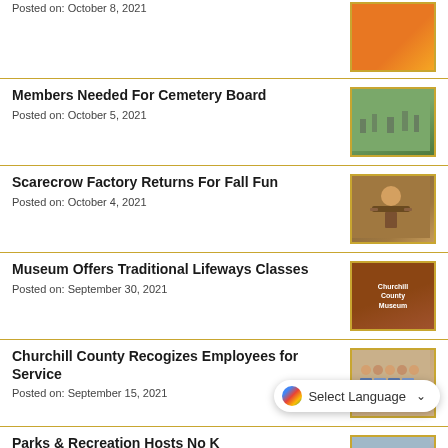Posted on: October 8, 2021
[Figure (photo): Orange graphic/image thumbnail]
Members Needed For Cemetery Board
Posted on: October 5, 2021
[Figure (photo): Aerial view of a cemetery with green grass and grave markers]
Scarecrow Factory Returns For Fall Fun
Posted on: October 4, 2021
[Figure (photo): Person lying on ground outdoors, scarecrow activity]
Museum Offers Traditional Lifeways Classes
Posted on: September 30, 2021
[Figure (photo): Churchill County Museum sign on brick building]
Churchill County Recogizes Employees for Service
Posted on: September 15, 2021
[Figure (photo): Group photo of employees inside a room]
Parks & Recreation Hosts No K Hundred Bike Tour
Posted on: September 18, 2021
[Figure (photo): Cyclists on a bike tour]